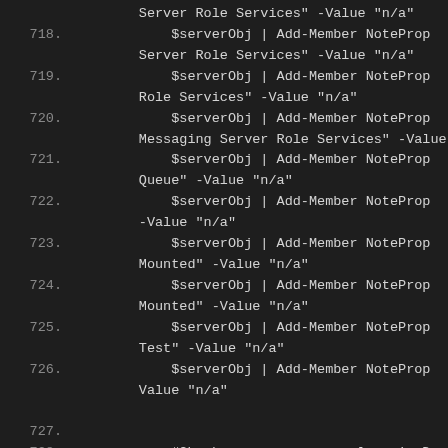[Figure (screenshot): Dark-themed code editor screenshot showing PowerShell script lines 717-728. Each line contains $serverObj | Add-Member NoteProperty commands with various server role service names and -Value 'n/a' assignments. Line 727 is blank. Line 728 begins a comment: #Check server name resolves in D]